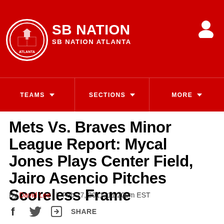SB NATION / SB NATION ATLANTA
[Figure (logo): SB Nation Atlanta circular logo with red background]
TEAMS ▾  SECTIONS ▾  MORE ▾
Mets Vs. Braves Minor League Report: Mycal Jones Plays Center Field, Jairo Asencio Pitches Scoreless Frame
By David Lee | Feb 27, 2011, 11:20pm EST
f  (twitter bird)  SHARE